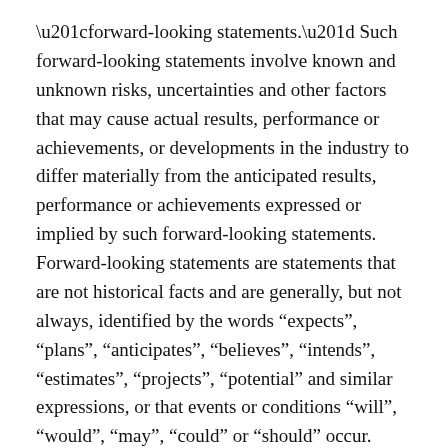“forward-looking statements.” Such forward-looking statements involve known and unknown risks, uncertainties and other factors that may cause actual results, performance or achievements, or developments in the industry to differ materially from the anticipated results, performance or achievements expressed or implied by such forward-looking statements. Forward-looking statements are statements that are not historical facts and are generally, but not always, identified by the words “expects”, “plans”, “anticipates”, “believes”, “intends”, “estimates”, “projects”, “potential” and similar expressions, or that events or conditions “will”, “would”, “may”, “could” or “should” occur.
Forward-looking statements are necessarily based upon a number of estimates and assumptions that, while